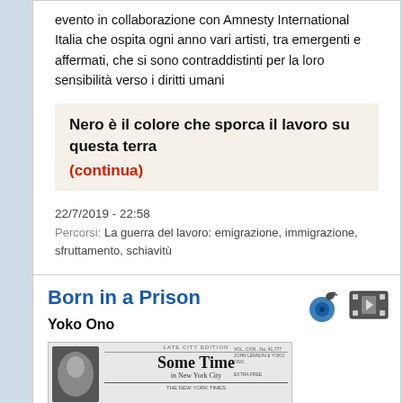evento in collaborazione con Amnesty International Italia che ospita ogni anno vari artisti, tra emergenti e affermati, che si sono contraddistinti per la loro sensibilità verso i diritti umani
Nero è il colore che sporca il lavoro su questa terra (continua)
22/7/2019 - 22:58
Percorsi: La guerra del lavoro: emigrazione, immigrazione, sfruttamento, schiavitù
Born in a Prison
Yoko Ono
[Figure (photo): Newspaper-style image showing 'Some Time in New York City' album cover resembling a New York Times front page, with circular portrait on left and gothic masthead text]